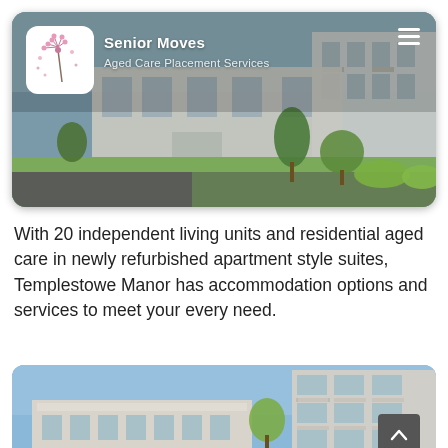[Figure (photo): Hero image of Templestowe Manor facility showing a large residential aged care building with manicured lawns, trees, and a driveway. Overlaid with Senior Moves logo (white box with pink dandelion), brand name 'Senior Moves', subtitle 'Aged Care Placement Services', and hamburger menu icon.]
With 20 independent living units and residential aged care in newly refurbished apartment style suites, Templestowe Manor has accommodation options and services to meet your every need.
[Figure (photo): Bottom photo showing the exterior of a multi-storey white residential building with balconies against a blue sky, partially cropped.]